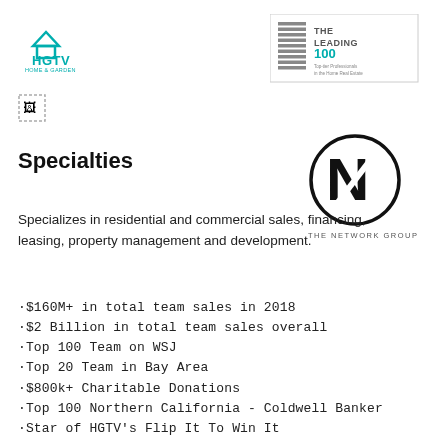[Figure (logo): HGTV Home & Garden TV logo in teal/green colors]
[Figure (logo): The Leading 100 logo with stacked lines graphic and text 'THE LEADING 100 Top-tier Professionals in the Home Real Estate']
[Figure (illustration): Small broken image icon placeholder]
[Figure (logo): The Network Group logo: circular N in black circle with 'THE NETWORK GROUP' text below]
Specialties
Specializes in residential and commercial sales, financing, leasing, property management and development.
·$160M+ in total team sales in 2018
·$2 Billion in total team sales overall
·Top 100 Team on WSJ
·Top 20 Team in Bay Area
·$800k+ Charitable Donations
·Top 100 Northern California - Coldwell Banker
·Star of HGTV's Flip It To Win It